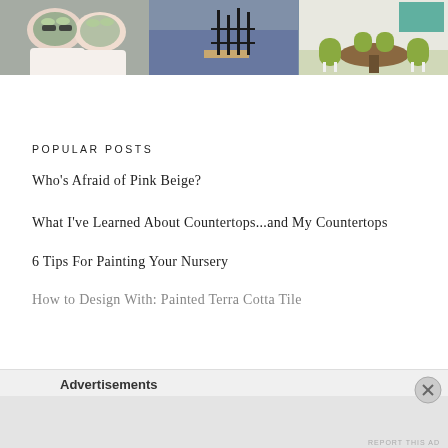[Figure (photo): Three-panel photo strip: left panel shows two women in spa robes with cucumber slices on eyes and green face masks; center panel shows a black geometric sculpture/rack on a blue surface; right panel shows a dining area with green chairs around a round table.]
POPULAR POSTS
Who's Afraid of Pink Beige?
What I've Learned About Countertops...and My Countertops
6 Tips For Painting Your Nursery
How to Design With: Painted Terra Cotta Tile
Advertisements